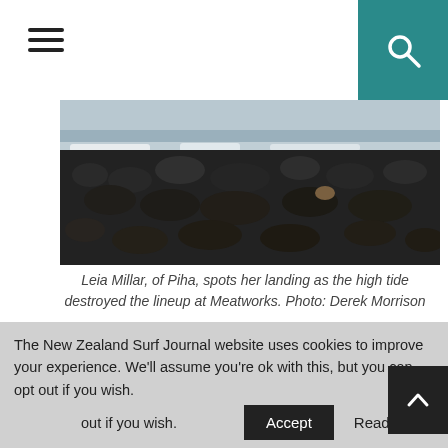[Figure (photo): Rocky shoreline/beach with dark stones and surf, with a teal search button and hamburger menu in top navigation bar]
Leia Millar, of Piha, spots her landing as the high tide destroyed the lineup at Meatworks. Photo: Derek Morrison
The event continued to roll through rounds late into the afternoon in a bid to get through to the semi-finals of every division for the final day. The final heats ran frighteningly close to the rocky shoreline.
The Kaikoura Grom Comp is the fifth and final event of the New Zealand Grom Series for all, but the Under 16 Boys Division…
The New Zealand Surf Journal website uses cookies to improve your experience. We'll assume you're ok with this, but you can opt out if you wish.